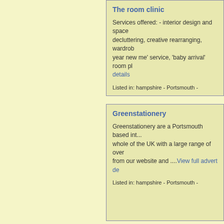The room clinic
Services offered: - interior design and space planning, decluttering, creative rearranging, wardrobe ... 'new year new me' service, 'baby arrival' room planning...View full advert details
Listed in: hampshire - Portsmouth -
Greenstationery
Greenstationery are a Portsmouth based int... whole of the UK with a large range of over... from our website and ....View full advert de...
Listed in: hampshire - Portsmouth -
D knott electrical
Domestic Electrician All aspects of domest... Extra sockets Lights Fault finding Eicr Full...